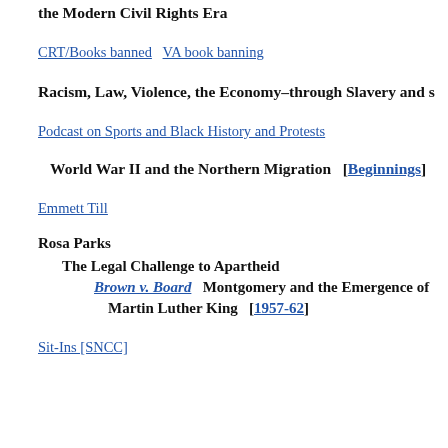the Modern Civil Rights Era
CRT/Books banned   VA book banning
Racism, Law, Violence, the Economy–through Slavery and s
Podcast on Sports and Black History and Protests
World War II and the Northern Migration  [Beginnings]
Emmett Till
Rosa Parks
The Legal Challenge to Apartheid
Brown v. Board   Montgomery and the Emergence of Martin Luther King  [1957-62]
Sit-Ins [SNCC]